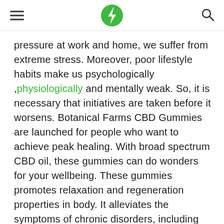[hamburger menu] [lightning bolt logo] [search icon]
pressure at work and home, we suffer from extreme stress. Moreover, poor lifestyle habits make us psychologically ,physiologically and mentally weak. So, it is necessary that initiatives are taken before it worsens. Botanical Farms CBD Gummies are launched for people who want to achieve peak healing. With broad spectrum CBD oil, these gummies can do wonders for your wellbeing. These gummies promotes relaxation and regeneration properties in body. It alleviates the symptoms of chronic disorders, including pain, aches, inflammation, stress, anxiety and depression.